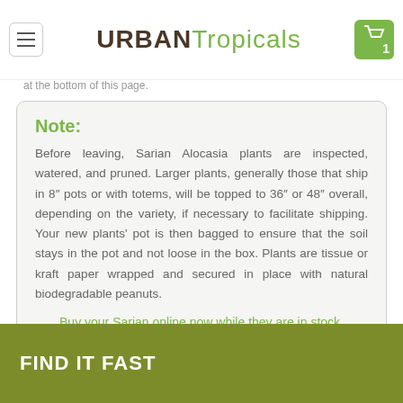URBAN Tropicals
at the bottom of this page.
Note:
Before leaving, Sarian Alocasia plants are inspected, watered, and pruned. Larger plants, generally those that ship in 8" pots or with totems, will be topped to 36" or 48" overall, depending on the variety, if necessary to facilitate shipping. Your new plants' pot is then bagged to ensure that the soil stays in the pot and not loose in the box. Plants are tissue or kraft paper wrapped and secured in place with natural biodegradable peanuts.
Buy your Sarian online now while they are in stock.
FIND IT FAST